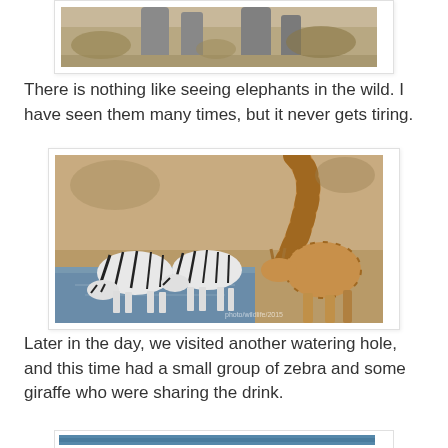[Figure (photo): Partial view of elephants in the wild, dry savanna background — top portion cropped]
There is nothing like seeing elephants in the wild. I have seen them many times, but it never gets tiring.
[Figure (photo): A giraffe bending down to drink at a watering hole alongside a small group of zebras drinking from the water, sandy/dusty surroundings]
Later in the day, we visited another watering hole, and this time had a small group of zebra and some giraffe who were sharing the drink.
[Figure (photo): Partial view of another photo at the bottom of the page, cropped — appears to show a blue/water scene]